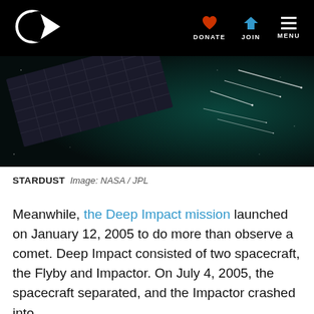DONATE  JOIN  MENU
[Figure (photo): Spacecraft with solar panels against dark space background with streaks of light (comets/particles)]
STARDUST  Image: NASA / JPL
Meanwhile, the Deep Impact mission launched on January 12, 2005 to do more than observe a comet. Deep Impact consisted of two spacecraft, the Flyby and Impactor. On July 4, 2005, the spacecraft separated, and the Impactor crashed into